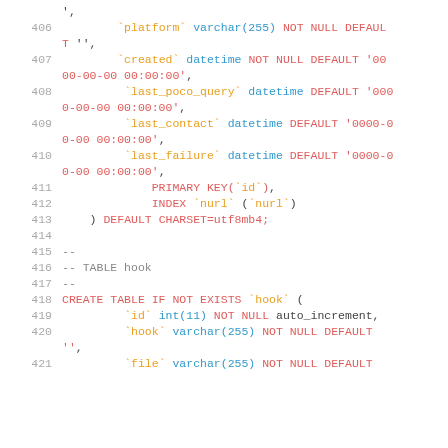SQL code block lines 406-421 showing table definition SQL
406   `platform` varchar(255) NOT NULL DEFAULT '',
407   `created` datetime NOT NULL DEFAULT '0000-00-00 00:00:00',
408   `last_poco_query` datetime DEFAULT '0000-00-00 00:00:00',
409   `last_contact` datetime DEFAULT '0000-00-00 00:00:00',
410   `last_failure` datetime DEFAULT '0000-00-00 00:00:00',
411   PRIMARY KEY(`id`),
412   INDEX `nurl` (`nurl`)
413 ) DEFAULT CHARSET=utf8mb4;
414
415 --
416 -- TABLE hook
417 --
418 CREATE TABLE IF NOT EXISTS `hook` (
419   `id` int(11) NOT NULL auto_increment,
420   `hook` varchar(255) NOT NULL DEFAULT '',
421   `file` varchar(255) NOT NULL DEFAULT